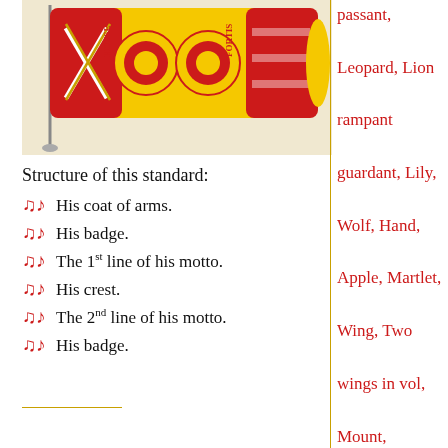[Figure (illustration): A heraldic standard/flag with red and yellow sections, featuring crossed swords, roses, and decorative heraldic emblems on a yellow background with red panels.]
Structure of this standard:
His coat of arms.
His badge.
The 1st line of his motto.
His crest.
The 2nd line of his motto.
His badge.
passant, Leopard, Lion rampant guardant, Lily, Wolf, Hand, Apple, Martlet, Wing, Two wings in vol, Mount, Trimount, Poplar leaf, Paw, Peacock, Chest, Fish, Hoof, Quill, Cinquefoil, Oak